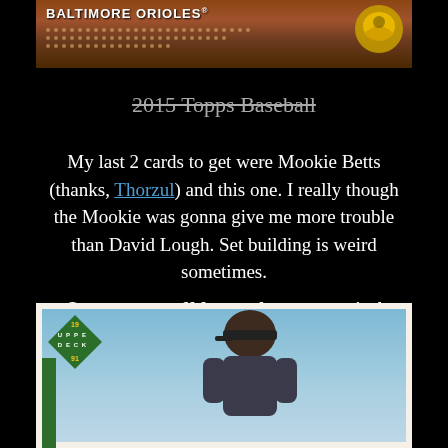[Figure (photo): Baltimore Orioles baseball card top portion showing team name header with decorative dot pattern and bird logo on dark reddish-brown background]
2015 Topps Baseball (strikethrough)
My last 2 cards to get were Mookie Betts (thanks, Thorzul) and this one. I really though the Mookie was gonna give me more trouble than David Lough. Set building is weird sometimes.
Onto some stuff from other companies!
[Figure (photo): Upper Deck 1991 baseball card showing a player wearing a cap against a blue sky background, with Upper Deck diamond logo in upper left and green bar on left edge]